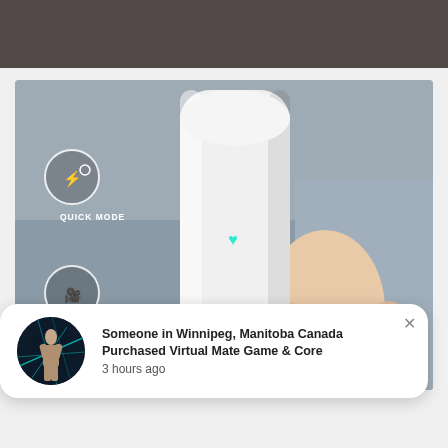[Figure (photo): Top strip showing dark brownish-gray background, partial top of product image]
[Figure (photo): Main product photo: a hand holding a white cylindrical smart device with a teal heart LED indicator. Two circular icons on the left show 'QUICK MODE' and partially visible 'STORY MODE' labels. Background is a gray sofa.]
Someone in Winnipeg, Manitoba Canada Purchased Virtual Mate Game & Core 3 hours ago